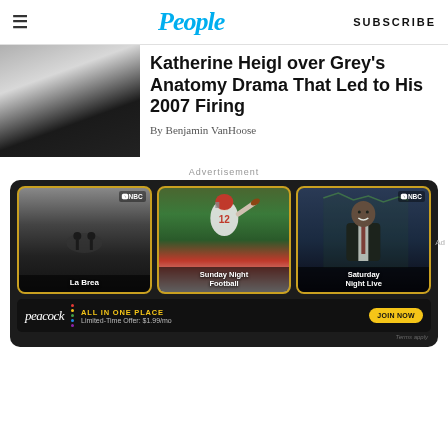People | SUBSCRIBE
Katherine Heigl over Grey's Anatomy Drama That Led to His 2007 Firing
By Benjamin VanHoose
Advertisement
[Figure (photo): NBC advertisement banner showing three cards: La Brea (TV show), Sunday Night Football (QB throwing pass, jersey #12), and Saturday Night Live (man in suit). Below is a Peacock streaming bar: ALL IN ONE PLACE, Limited-Time Offer: $1.99/mo, JOIN NOW button, Terms apply.]